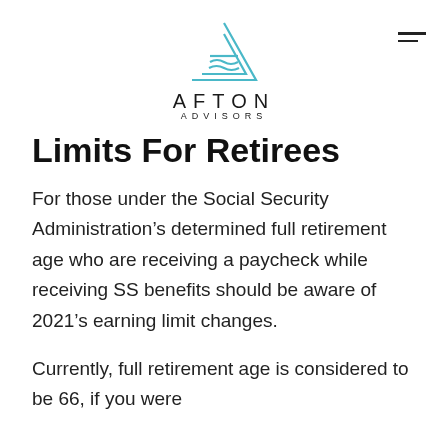AFTON ADVISORS
Limits For Retirees
For those under the Social Security Administration’s determined full retirement age who are receiving a paycheck while receiving SS benefits should be aware of 2021’s earning limit changes.
Currently, full retirement age is considered to be 66, if you were